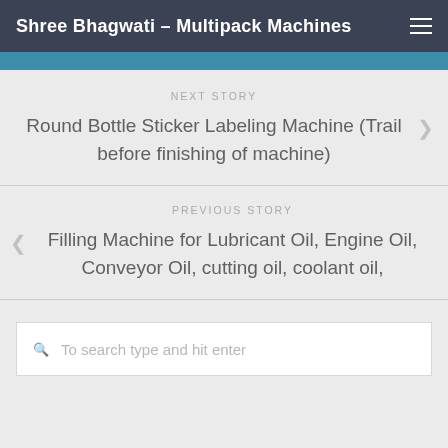Shree Bhagwati - Multipack Machines
NEXT STORY
Round Bottle Sticker Labeling Machine (Trail before finishing of machine)
PREVIOUS STORY
Filling Machine for Lubricant Oil, Engine Oil, Conveyor Oil, cutting oil, coolant oil,
To search type and hit enter